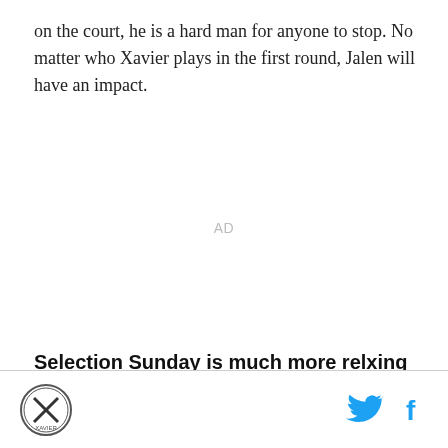on the court, he is a hard man for anyone to stop. No matter who Xavier plays in the first round, Jalen will have an impact.
AD
Selection Sunday is much more relxing this year